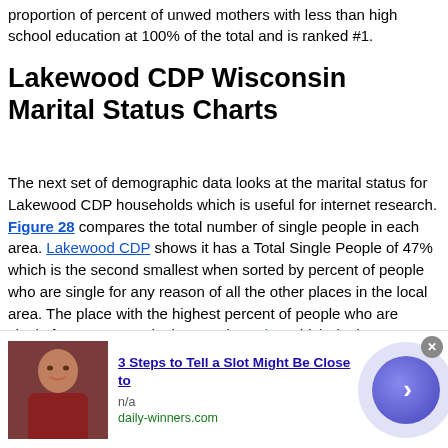proportion of percent of unwed mothers with less than high school education at 100% of the total and is ranked #1.
Lakewood CDP Wisconsin Marital Status Charts
The next set of demographic data looks at the marital status for Lakewood CDP households which is useful for internet research. Figure 28 compares the total number of single people in each area. Lakewood CDP shows it has a Total Single People of 47% which is the second smallest when sorted by percent of people who are single for any reason of all the other places in the local area. The place with the highest percent of people who are single for any reason in the area is Suring which depicts a percent single of 60% (28.0% larger).
[Figure (other): Advertisement overlay showing a man's photo, text '3 Steps to Tell a Slot Might Be Close to', source 'daily-winners.com', with a blue arrow button and close (x) button.]